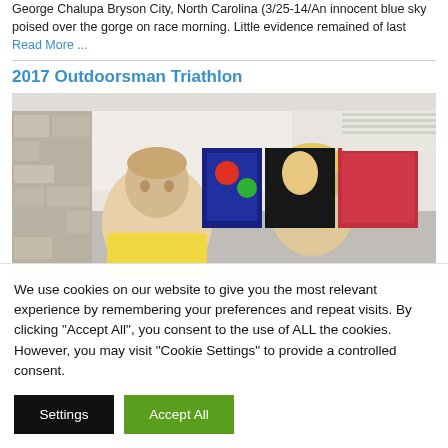George Chalupa Bryson City, North Carolina (3/25-14/An innocent blue sky poised over the gorge on race morning. Little evidence remained of last Read More ...
2017 Outdoorsman Triathlon
[Figure (photo): Photograph showing two people indoors near a stone wall; an adult man in a yellow shirt in the foreground and a young boy looking at him; colorful display boards in the background.]
We use cookies on our website to give you the most relevant experience by remembering your preferences and repeat visits. By clicking "Accept All", you consent to the use of ALL the cookies. However, you may visit "Cookie Settings" to provide a controlled consent.